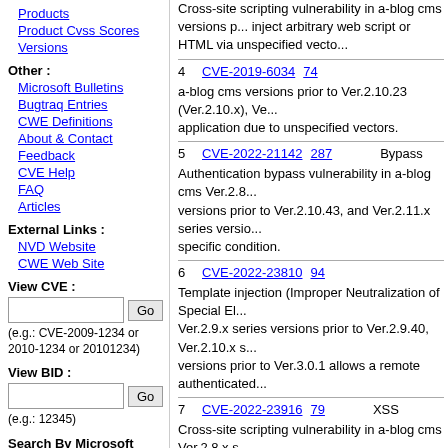Products
Product Cvss Scores
Versions
Other :
Microsoft Bulletins
Bugtraq Entries
CWE Definitions
About & Contact
Feedback
CVE Help
FAQ
Articles
External Links :
NVD Website
CWE Web Site
View CVE :
(e.g.: CVE-2009-1234 or 2010-1234 or 20101234)
View BID :
(e.g.: 12345)
Search By Microsoft
Cross-site scripting vulnerability in a-blog cms versions prior to inject arbitrary web script or HTML via unspecified vecto...
| # | CVE ID | Score | Type |
| --- | --- | --- | --- |
| 4 | CVE-2019-6034 | 74 |  |
| 5 | CVE-2022-21142 | 287 | Bypass |
| 6 | CVE-2022-23810 | 94 |  |
| 7 | CVE-2022-23916 | 79 | XSS |
| 8 | CVE-2022-24374 | 79 | XSS |
a-blog cms versions prior to Ver.2.10.23 (Ver.2.10.x), Ve... application due to unspecified vectors.
Authentication bypass vulnerability in a-blog cms Ver.2.8... versions prior to Ver.2.10.43, and Ver.2.11.x series versio... specific condition.
Template injection (Improper Neutralization of Special El... Ver.2.9.x series versions prior to Ver.2.9.40, Ver.2.10.x s... versions prior to Ver.3.0.1 allows a remote authenticated...
Cross-site scripting vulnerability in a-blog cms Ver.2.8.x s... prior to Ver.2.10.44, Ver.2.11.x series versions prior to Ve... an arbitrary script via unspecified vectors. This vulnerabi...
Cross-site scripting vulnerability in a-blog cms Ver.2.8.x...